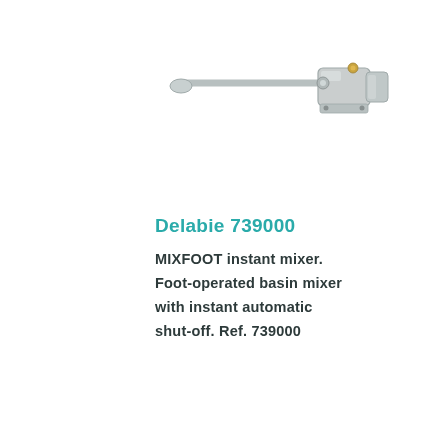[Figure (photo): MIXFOOT instant mixer product photo — a foot-operated basin mixer valve with a long lever arm, shown in a chrome/stainless steel finish, viewed from a side-top angle.]
Delabie 739000
MIXFOOT instant mixer. Foot-operated basin mixer with instant automatic shut-off. Ref. 739000